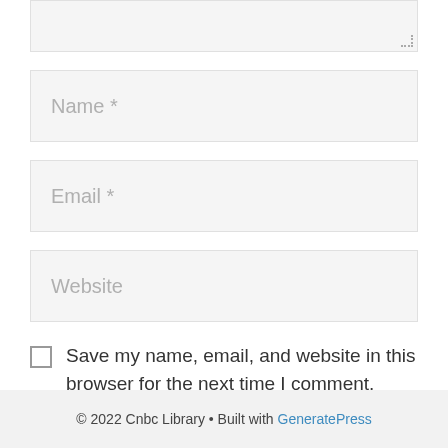[Figure (screenshot): Textarea input stub (top portion cut off), showing resizable corner handle]
Name *
Email *
Website
Save my name, email, and website in this browser for the next time I comment.
Post Comment
© 2022 Cnbc Library • Built with GeneratePress